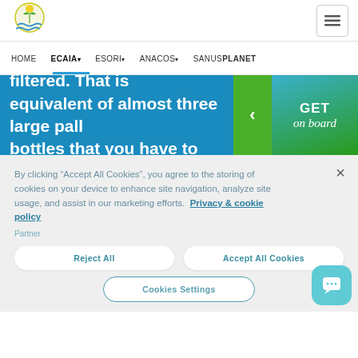[Figure (logo): ECAIA circular logo with plant and water waves]
HOME  ECAIA▾  ESORI▾  ANACOS▾  SANUSPLANET
ECAIA water can be filtered. That is the equivalent of almost three large pall... bottles that you have to haul from th...
By clicking "Accept All Cookies", you agree to the storing of cookies on your device to enhance site navigation, analyze site usage, and assist in our marketing efforts. Privacy & cookie policy
Partner
Reject All
Accept All Cookies
Cookies Settings